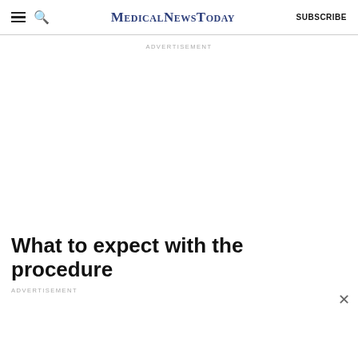MedicalNewsToday SUBSCRIBE
ADVERTISEMENT
What to expect with the procedure
ADVERTISEMENT